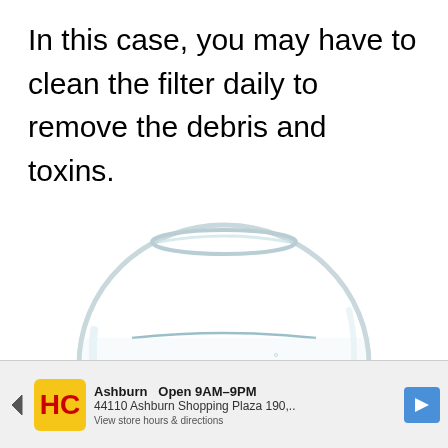In this case, you may have to clean the filter daily to remove the debris and toxins.
[Figure (photo): A clear glass fish bowl with water, containing a single small orange goldfish with bubbles rising near it. The bowl is round and sits on a white background.]
[Figure (logo): Life of Fish website logo badge in teal/blue with orange fish icon]
How Often Should Cl...
[Figure (screenshot): Advertisement banner showing HC logo, Ashburn Open 9AM-9PM, 44110 Ashburn Shopping Plaza 190, with navigation arrow icon]